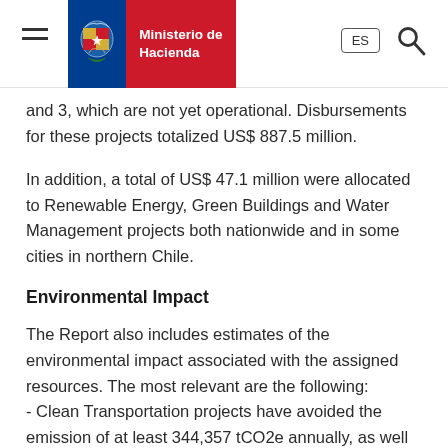Ministerio de Hacienda | ES
and 3, which are not yet operational. Disbursements for these projects totalized US$ 887.5 million.
In addition, a total of US$ 47.1 million were allocated to Renewable Energy, Green Buildings and Water Management projects both nationwide and in some cities in northern Chile.
Environmental Impact
The Report also includes estimates of the environmental impact associated with the assigned resources. The most relevant are the following:
- Clean Transportation projects have avoided the emission of at least 344,357 tCO2e annually, as well as